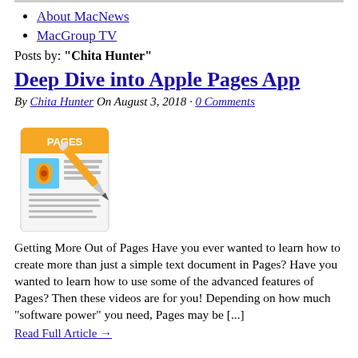About MacNews
MacGroup TV
Posts by: "Chita Hunter"
Deep Dive into Apple Pages App
By Chita Hunter On August 3, 2018 · 0 Comments
[Figure (illustration): Apple Pages app icon with a pen on top of a document showing text and an image of an orange poppy flower]
Getting More Out of Pages Have you ever wanted to learn how to create more than just a simple text document in Pages? Have you wanted to learn how to use some of the advanced features of Pages? Then these videos are for you! Depending on how much “software power” you need, Pages may be [...]
Read Full Article →